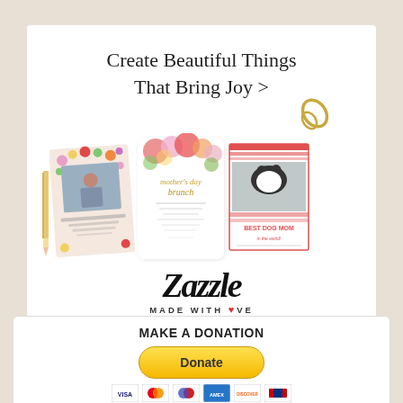[Figure (illustration): Zazzle advertisement showing three greeting cards (floral Mother's Day card, Mother's Day brunch invitation, and Best Dog Mom card) with a pencil and gold paper clips on a white background, with the Zazzle logo and 'Made With Love' tagline below]
Create Beautiful Things That Bring Joy >
[Figure (logo): Zazzle logo in bold italic script with 'MADE WITH LOVE' tagline and red heart]
MAKE A DONATION
[Figure (other): Yellow PayPal Donate button followed by credit card payment icons (Visa, Mastercard, Maestro, American Express, Discover, UnionPay)]
Donations are absolutely NOT required. Our photographs have all been released into the public domain, which means you can